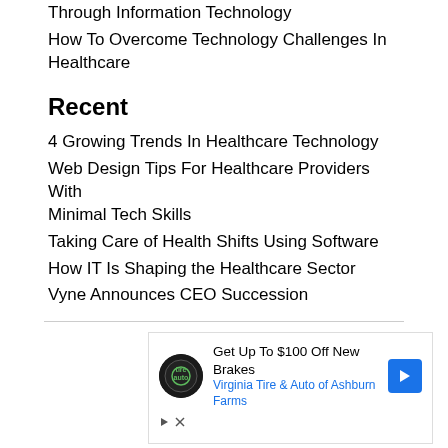Through Information Technology
How To Overcome Technology Challenges In Healthcare
Recent
4 Growing Trends In Healthcare Technology
Web Design Tips For Healthcare Providers With Minimal Tech Skills
Taking Care of Health Shifts Using Software
How IT Is Shaping the Healthcare Sector
Vyne Announces CEO Succession
[Figure (screenshot): Advertisement banner: Get Up To $100 Off New Brakes - Virginia Tire & Auto of Ashburn Farms, with tire auto logo and blue arrow icon, play and close buttons]